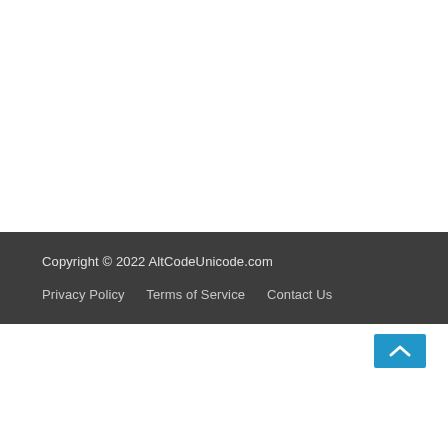Copyright © 2022 AltCodeUnicode.com
Privacy Policy  Terms of Service  Contact Us